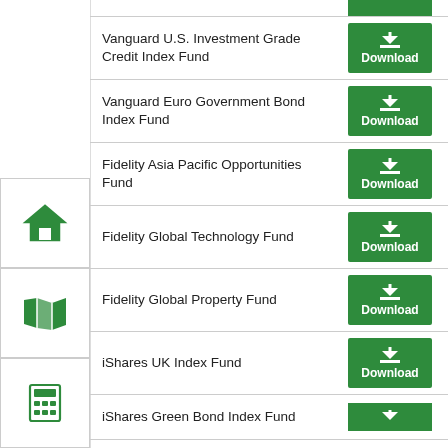| Fund Name | Download |
| --- | --- |
| Vanguard U.S. Investment Grade Credit Index Fund | Download |
| Vanguard Euro Government Bond Index Fund | Download |
| Fidelity Asia Pacific Opportunities Fund | Download |
| Fidelity Global Technology Fund | Download |
| Fidelity Global Property Fund | Download |
| iShares UK Index Fund | Download |
| iShares Green Bond Index Fund | Download |
[Figure (infographic): Sidebar navigation icons: home icon, map/atlas icon, calculator icon]